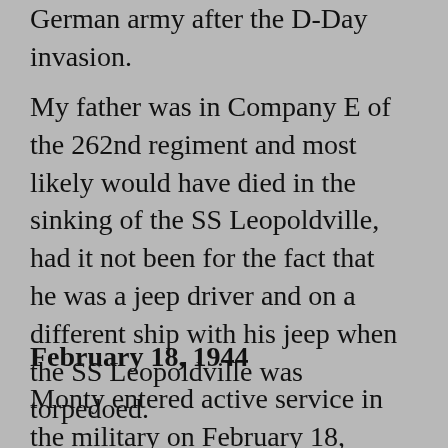German army after the D-Day invasion.
My father was in Company E of the 262nd regiment and most likely would have died in the sinking of the SS Leopoldville, had it not been for the fact that he was a jeep driver and on a different ship with his jeep when the SS Leopoldville was torpedoed.
February 18, 1944
Monty entered active service in the military on February 18, 1944 where he was sent to Camp Blanding, Florida for basic training. After basic training, he went home on furlough for 30 days before traveling to Camp Rucker, Alabama to join the 66th Infantry Division in July of 1944. It is during this time at